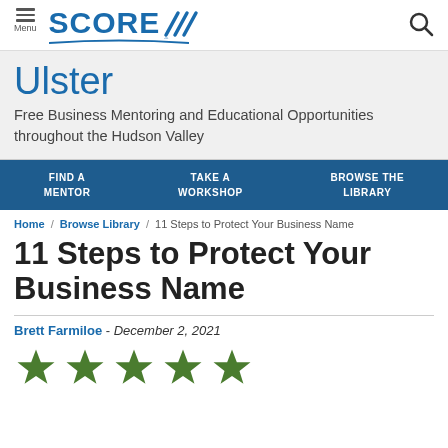SCORE — Menu / Search
Ulster
Free Business Mentoring and Educational Opportunities throughout the Hudson Valley
FIND A MENTOR / TAKE A WORKSHOP / BROWSE THE LIBRARY
Home / Browse Library / 11 Steps to Protect Your Business Name
11 Steps to Protect Your Business Name
Brett Farmiloe - December 2, 2021
[Figure (other): Five green star rating icons]